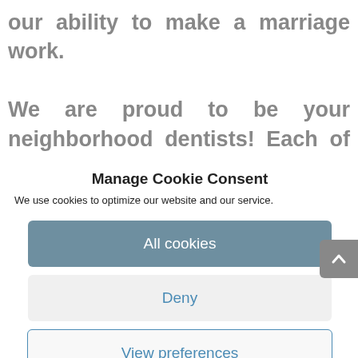our ability to make a marriage work.

We are proud to be your neighborhood dentists! Each of our cosmetic dentists strives to get to know each person that comes in for a visit; are proud to serve our
Manage Cookie Consent
We use cookies to optimize our website and our service.
All cookies
Deny
View preferences